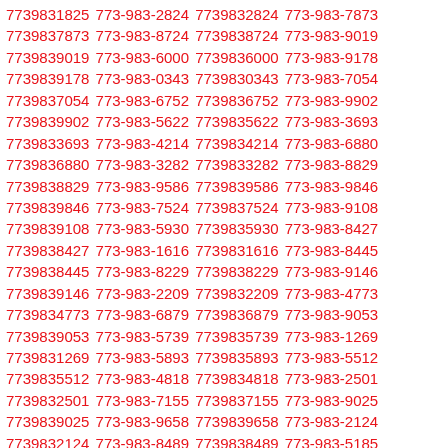7739831825 773-983-2824 7739832824 773-983-7873 7739837873 773-983-8724 7739838724 773-983-9019 7739839019 773-983-6000 7739836000 773-983-9178 7739839178 773-983-0343 7739830343 773-983-7054 7739837054 773-983-6752 7739836752 773-983-9902 7739839902 773-983-5622 7739835622 773-983-3693 7739833693 773-983-4214 7739834214 773-983-6880 7739836880 773-983-3282 7739833282 773-983-8829 7739838829 773-983-9586 7739839586 773-983-9846 7739839846 773-983-7524 7739837524 773-983-9108 7739839108 773-983-5930 7739835930 773-983-8427 7739838427 773-983-1616 7739831616 773-983-8445 7739838445 773-983-8229 7739838229 773-983-9146 7739839146 773-983-2209 7739832209 773-983-4773 7739834773 773-983-6879 7739836879 773-983-9053 7739839053 773-983-5739 7739835739 773-983-1269 7739831269 773-983-5893 7739835893 773-983-5512 7739835512 773-983-4818 7739834818 773-983-2501 7739832501 773-983-7155 7739837155 773-983-9025 7739839025 773-983-9658 7739839658 773-983-2124 7739832124 773-983-8489 7739838489 773-983-5185 7739835185 773-983-6836 7739836836 773-983-9221 7739839221 773-983-6987 7739836987 773-983-4896 7739834896 773-983-7974 7739837974 773-983-7586 7739837586 773-983-6446 7739836446 773-983-8643